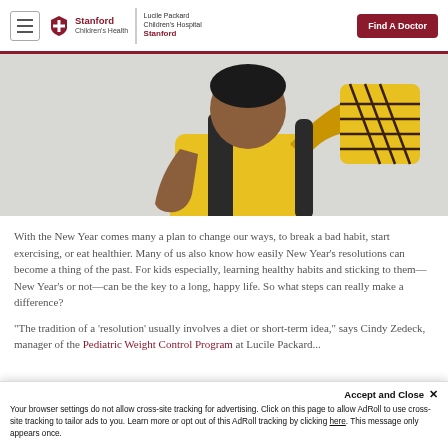Stanford Children's Health | Lucile Packard Children's Hospital Stanford | Find A Doctor
[Figure (photo): Child wearing a yellow shirt and holding a yellow patterned object, standing against a light background]
With the New Year comes many a plan to change our ways, to break a bad habit, start exercising, or eat healthier. Many of us also know how easily New Year's resolutions can become a thing of the past. For kids especially, learning healthy habits and sticking to them—New Year's or not—can be the key to a long, happy life. So what steps can really make a difference?
“The tradition of a ‘resolution’ usually involves a diet or short-term idea,” says Cindy Zedeck, manager of the Pediatric Weight Control Program at Lucile Packard...
Accept and Close ×
Your browser settings do not allow cross-site tracking for advertising. Click on this page to allow AdRoll to use cross-site tracking to tailor ads to you. Learn more or opt out of this AdRoll tracking by clicking here. This message only appears once.